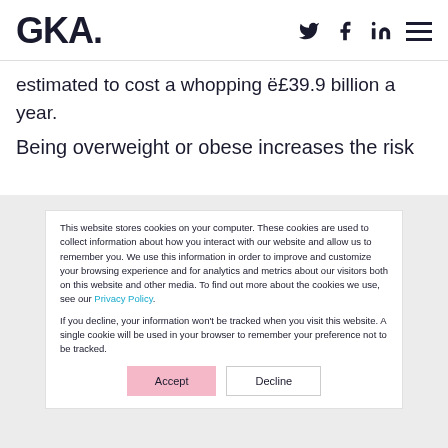GKA.
estimated to cost a whopping ë£39.9 billion a year.
Being overweight or obese increases the risk
This website stores cookies on your computer. These cookies are used to collect information about how you interact with our website and allow us to remember you. We use this information in order to improve and customize your browsing experience and for analytics and metrics about our visitors both on this website and other media. To find out more about the cookies we use, see our Privacy Policy.

If you decline, your information won't be tracked when you visit this website. A single cookie will be used in your browser to remember your preference not to be tracked.